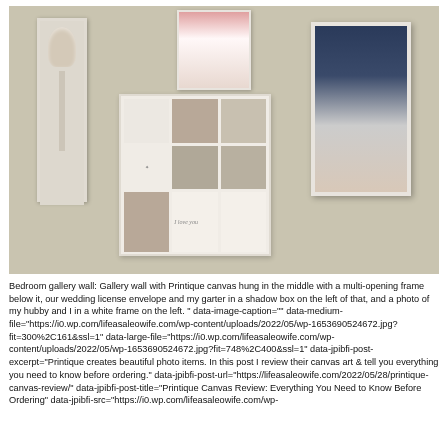[Figure (photo): Bedroom gallery wall with multiple frames: a tall narrow shadow box on the left containing a wedding dress/bouquet, a small photo frame at top center with a bride in a pink and white dress, a multi-opening canvas frame in the center with several wedding photos, and a large white portrait frame on the right with a photo of a couple.]
Bedroom gallery wall: Gallery wall with Printique canvas hung in the middle with a multi-opening frame below it, our wedding license envelope and my garter in a shadow box on the left of that, and a photo of my hubby and I in a white frame on the left. " data-image-caption="" data-medium-file="https://i0.wp.com/lifeasaleowife.com/wp-content/uploads/2022/05/wp-1653690524672.jpg?fit=300%2C161&ssl=1" data-large-file="https://i0.wp.com/lifeasaleowife.com/wp-content/uploads/2022/05/wp-1653690524672.jpg?fit=748%2C400&ssl=1" data-jpibfi-post-excerpt="Printique creates beautiful photo items. In this post I review their canvas art & tell you everything you need to know before ordering." data-jpibfi-post-url="https://lifeasaleowife.com/2022/05/28/printique-canvas-review/" data-jpibfi-post-title="Printique Canvas Review: Everything You Need to Know Before Ordering" data-jpibfi-src="https://i0.wp.com/lifeasaleowife.com/wp-